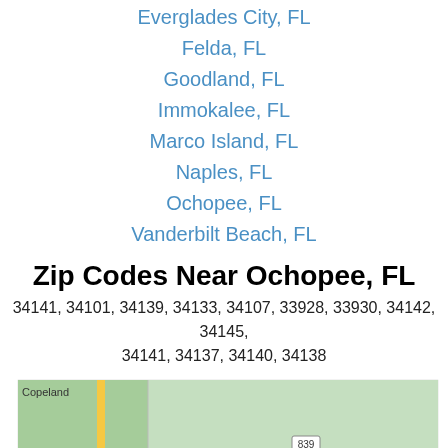Everglades City, FL
Felda, FL
Goodland, FL
Immokalee, FL
Marco Island, FL
Naples, FL
Ochopee, FL
Vanderbilt Beach, FL
Zip Codes Near Ochopee, FL
34141, 34101, 34139, 34133, 34107, 33928, 33930, 34142, 34145, 34141, 34137, 34140, 34138
[Figure (map): Road map showing the area near Ochopee, FL with Copeland labeled in the upper left, a yellow road running vertically on the left side, green terrain fill, and route marker 839 on the right side.]